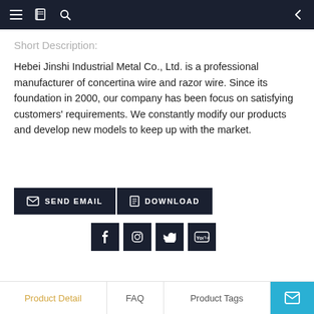Navigation bar with menu, book, search icons and back arrow
Short Description:
Hebei Jinshi Industrial Metal Co., Ltd. is a professional manufacturer of concertina wire and razor wire. Since its foundation in 2000, our company has been focus on satisfying customers' requirements. We constantly modify our products and develop new models to keep up with the market.
[Figure (infographic): Two dark buttons: SEND EMAIL (with envelope icon) and DOWNLOAD (with document icon), followed by social media icons for Facebook, Instagram, Twitter, and YouTube]
Product Detail | FAQ | Product Tags | Contact (email icon)